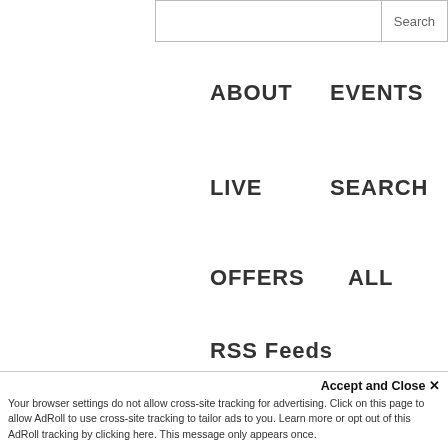[Figure (screenshot): Website navigation menu with search bar and nav links: ABOUT, EVENTS, LIVE, SEARCH, OFFERS, ALL, RSS FEEDS]
ABOUT
EVENTS
LIVE
SEARCH
OFFERS
ALL
RSS FEEDS
quickly as possible. We have to expand the sales operations as much as possible. We went from lean to fat really quickly. That I think you have to do that if you have something that is working.
JASON: I am assuming when you see Marc Beni...
Accept and Close ✕
Your browser settings do not allow cross-site tracking for advertising. Click on this page to allow AdRoll to use cross-site tracking to tailor ads to you. Learn more or opt out of this AdRoll tracking by clicking here. This message only appears once.